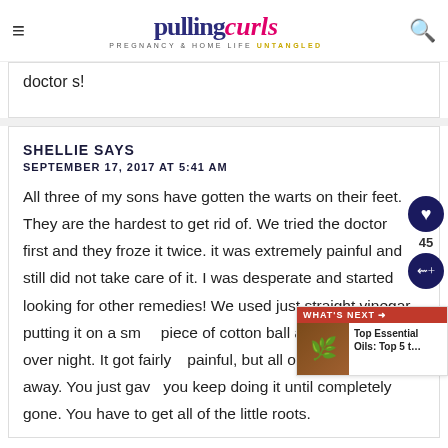pulling curls — PREGNANCY & HOME LIFE UNTANGLED
doctor s!
SHELLIE SAYS
SEPTEMBER 17, 2017 AT 5:41 AM
All three of my sons have gotten the warts on their feet. They are the hardest to get rid of. We tried the doctor first and they froze it twice. it was extremely painful and still did not take care of it. I was desperate and started looking for other remedies! We used just straight vinegar, putting it on a small piece of cotton ball and taping it on over night. It got fairly painful, but all of them went away. You just gave you keep doing it until completely gone. You have to get all of the little roots.